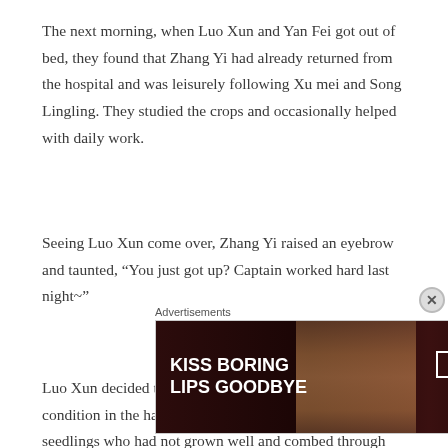The next morning, when Luo Xun and Yan Fei got out of bed, they found that Zhang Yi had already returned from the hospital and was leisurely following Xu mei and Song Lingling. They studied the crops and occasionally helped with daily work.
Seeing Luo Xun come over, Zhang Yi raised an eyebrow and taunted, “You just got up? Captain worked hard last night~”
Luo Xun decided to ignore him and examined the crop condition in the hallway. He began to deal with the seedlings who had not grown well and combed through the rest.
Advertisements
[Figure (infographic): Macy's advertisement banner: dark red/brown background with a woman's face/lips, text 'KISS BORING LIPS GOODBYE' on the left, 'SHOP NOW' button and Macy's star logo on the right.]